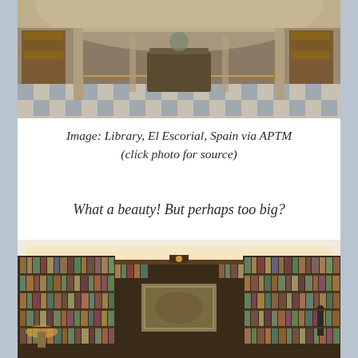[Figure (photo): Interior of the Library at El Escorial, Spain — grand hall with ornate ceiling, checkered marble floor, central table, and bookcases lining the walls]
Image:  Library, El Escorial, Spain via APTM
(click photo for source)
What a beauty!  But perhaps too big?
[Figure (photo): A private home library with tall dark wood bookshelves filled with books lining three walls, a painting hung in the center, and a small figure / statue visible at right]